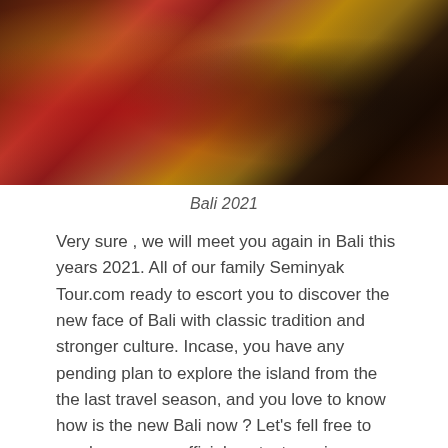[Figure (photo): Two people in traditional Balinese ceremonial costumes with red, gold, and dark floral patterns and headdresses]
Bali 2021
Very sure , we will meet you again in Bali this years 2021. All of our family Seminyak Tour.com ready to escort you to discover the new face of Bali with classic tradition and stronger culture. Incase, you have any pending plan to explore the island from the the last travel season, and you love to know how is the new Bali now ? Let's fell free to reach us on our official contact, again once more, we looking forwards to see you in Bali soon and stay safe.
seminyaktour.com
Email : seminyakdriver@gmail.com